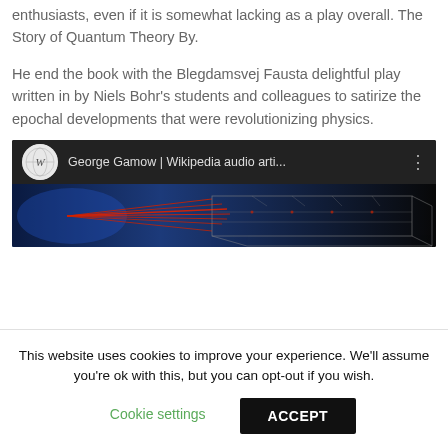enthusiasts, even if it is somewhat lacking as a play overall. The Story of Quantum Theory By.
He end the book with the Blegdamsvej Fausta delightful play written in by Niels Bohr's students and colleagues to satirize the epochal developments that were revolutionizing physics.
[Figure (screenshot): YouTube-style video thumbnail showing 'George Gamow | Wikipedia audio arti...' with Wikipedia globe icon and a dark thumbnail with red laser/beam lines and grid structure on black background.]
This website uses cookies to improve your experience. We'll assume you're ok with this, but you can opt-out if you wish. Cookie settings  ACCEPT